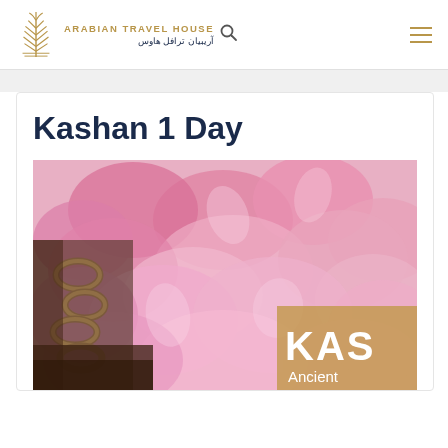Arabian Travel House / آريبيان ترافل هاوس
Kashan 1 Day
[Figure (photo): Close-up photograph of pink rose petals with a rustic metal chain and vessel visible on the left. An overlay badge in golden-tan reads 'KAS' and 'Ancient'.]